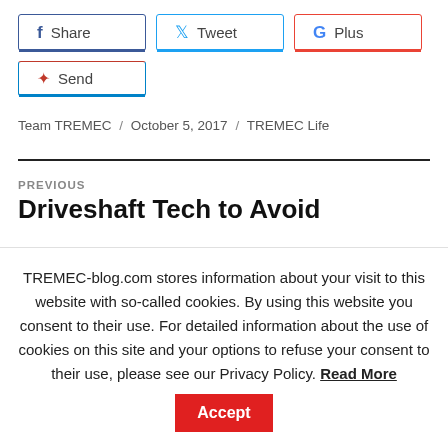[Figure (screenshot): Social share buttons: Share (Facebook), Tweet (Twitter), G Plus (Google+), Send (Bluetooth)]
Team TREMEC / October 5, 2017 / TREMEC Life
PREVIOUS
Driveshaft Tech to Avoid
TREMEC-blog.com stores information about your visit to this website with so-called cookies. By using this website you consent to their use. For detailed information about the use of cookies on this site and your options to refuse your consent to their use, please see our Privacy Policy. Read More Accept